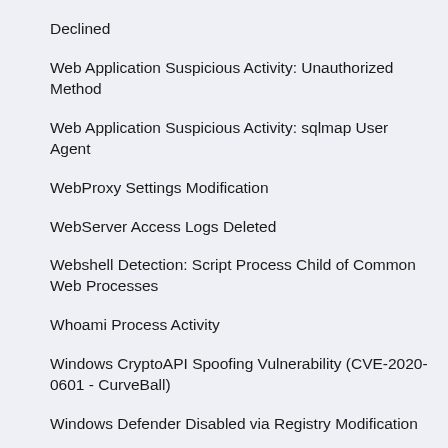Declined
Web Application Suspicious Activity: Unauthorized Method
Web Application Suspicious Activity: sqlmap User Agent
WebProxy Settings Modification
WebServer Access Logs Deleted
Webshell Detection: Script Process Child of Common Web Processes
Whoami Process Activity
Windows CryptoAPI Spoofing Vulnerability (CVE-2020-0601 - CurveBall)
Windows Defender Disabled via Registry Modification
Windows Defender Exclusions Added via PowerShell
Windows Event Logs Cleared